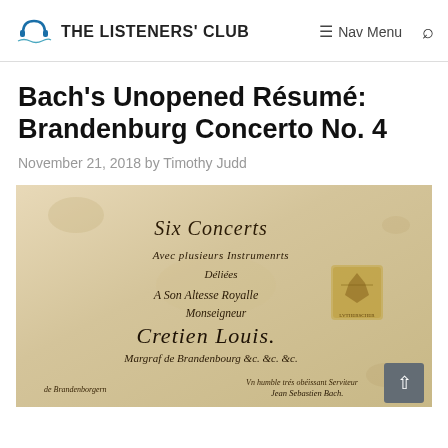THE LISTENERS' CLUB — Nav Menu [search icon]
Bach's Unopened Résumé: Brandenburg Concerto No. 4
November 21, 2018 by Timothy Judd
[Figure (photo): Manuscript page showing handwritten title page of Bach's Six Concertos (Brandenburg Concertos), dedicated to Margrave Christian Ludwig of Brandenburg. Text reads: 'Six Concerts / Avec plusieurs Instrumenrts / Dédiées / A Son Altesse Royalle / Monseigneur / Cretien Louis / Margraf de Brandenbourg &c. &c. &c.' with Bach's signature and a decorative crest/seal on the right side.]